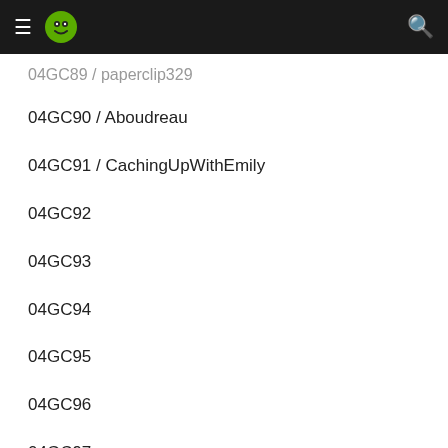≡ [logo] 🔍
04GC89 / paperclip329
04GC90 / Aboudreau
04GC91 / CachingUpWithEmily
04GC92
04GC93
04GC94
04GC95
04GC96
04GC97
04GC98
04GC99 / waxwing454
04GC9A / The Color Bar/RRMED/Hante R...